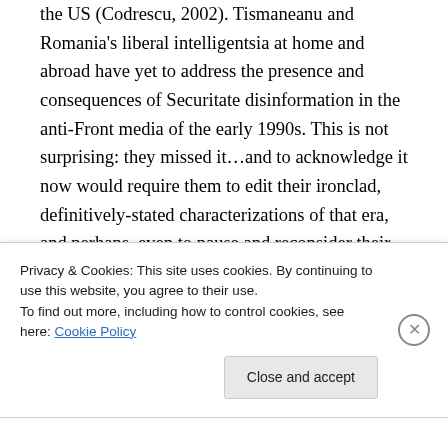the US (Codrescu, 2002). Tismaneanu and Romania's liberal intelligentsia at home and abroad have yet to address the presence and consequences of Securitate disinformation in the anti-Front media of the early 1990s. This is not surprising: they missed it…and to acknowledge it now would require them to edit their ironclad, definitively-stated characterizations of that era, and perhaps, even to pause and reconsider their understanding of December 1989. As for the Revolution itself, Tismaneanu's most recent
Privacy & Cookies: This site uses cookies. By continuing to use this website, you agree to their use.
To find out more, including how to control cookies, see here: Cookie Policy